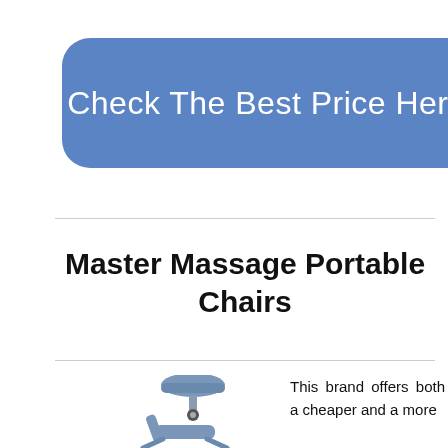[Figure (other): Blue rounded rectangle button banner with white text reading 'Check The Best Price Here']
Master Massage Portable Chairs
[Figure (photo): Photo of a blue portable massage chair, showing the seat and armrest structure]
This brand offers both a cheaper and a more